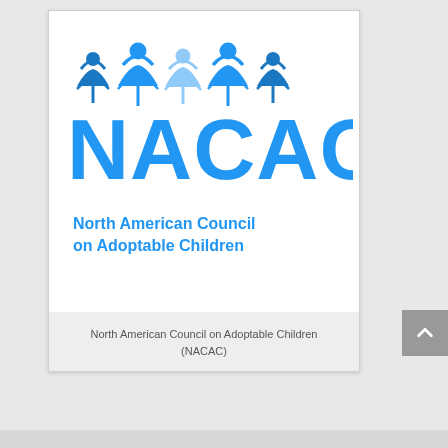[Figure (logo): NACAC logo showing stylized figures holding hands above the text 'NACAC' in large blue letters and 'North American Council on Adoptable Children' below in blue]
North American Council on Adoptable Children (NACAC)